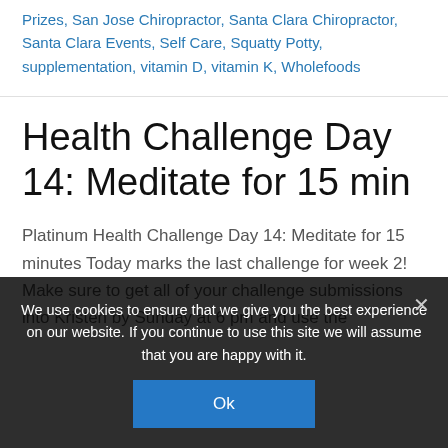Prizes, San Jose Chiropractor, Santa Clara Chiropractor, Santa Clara Events, Self Care, Squatty Potty, supplementation, vitamin D, vitamin K, Wholefoods
Health Challenge Day 14: Meditate for 15 min
Platinum Health Challenge Day 14: Meditate for 15 minutes Today marks the last challenge for week 2! Make sure to get all of your challenge submissions into Kristen by Sunday at 6 pm and use the
We use cookies to ensure that we give you the best experience on our website. If you continue to use this site we will assume that you are happy with it.